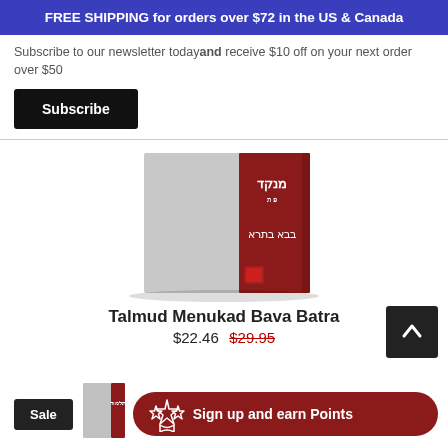FREE SHIPPING for orders over $72 in the US & Canada
Subscribe to our newsletter today and receive $10 off on your next order over $50
Subscribe
[Figure (photo): Book cover of Talmud Menukad Bava Batra — dark red and gray spine visible]
Talmud Menukad Bava Batra
$22.46  $29.95
Sale
Sign up and earn Points